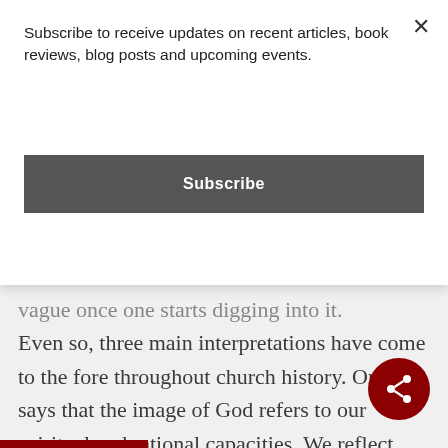Subscribe to receive updates on recent articles, book reviews, blog posts and upcoming events.
Subscribe
vague once one starts digging into it. Even so, three main interpretations have come to the fore throughout church history. One says that the image of God refers to our spiritual and rational capacities. We reflect God, and stand apart from the animals and plants, by virtue of our complex self-consciousness and rationality.